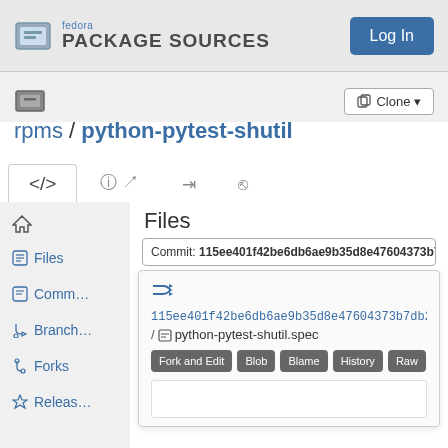fedora PACKAGE SOURCES
Log In
[Figure (screenshot): Repository icon and Clone button]
rpms / python-pytest-shutil
[Figure (screenshot): Navigation tabs: code, info/edit, download, graph]
Files
Commit: 115ee401f42be6db6ae9b35d8e47604373b7db2b
115ee401f42be6db6ae9b35d8e47604373b7db2b
/ python-pytest-shutil.spec
Fork and Edit  Blob  Blame  History  Raw
Files
Commits
Branches
Forks
Releases